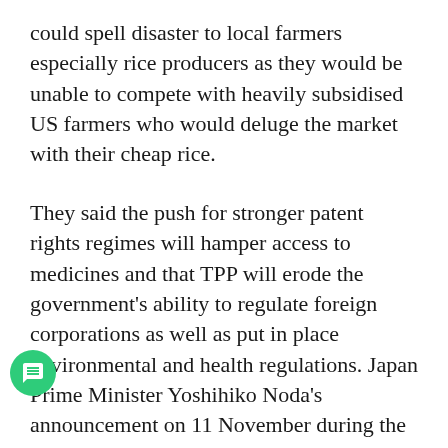could spell disaster to local farmers especially rice producers as they would be unable to compete with heavily subsidised US farmers who would deluge the market with their cheap rice.
They said the push for stronger patent rights regimes will hamper access to medicines and that TPP will erode the government's ability to regulate foreign corporations as well as put in place environmental and health regulations. Japan Prime Minister Yoshihiko Noda's announcement on 11 November during the recent Asia-Pacific Economic Cooperation (APEC) meeting in Hawaii to enter into the TPPA talks, also came amidst strong opposition even from his own ruling party, the Democratic Party of Japan.